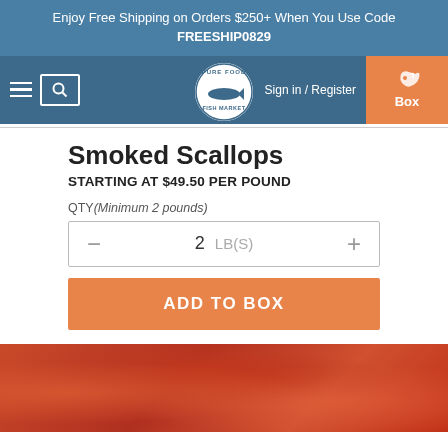Enjoy Free Shipping on Orders $250+ When You Use Code FREESHIP0829
[Figure (logo): Pure Food Fish Market circular logo with fish silhouette in center, navigation bar with hamburger menu, search icon, Sign in / Register link, and orange Box button with shrimp icon]
Smoked Scallops
STARTING AT $49.50 PER POUND
QTY (Minimum 2 pounds)
- 2 LB(S) +
ADD TO BOX
[Figure (photo): Close-up photo of smoked scallops with red/orange coloring]